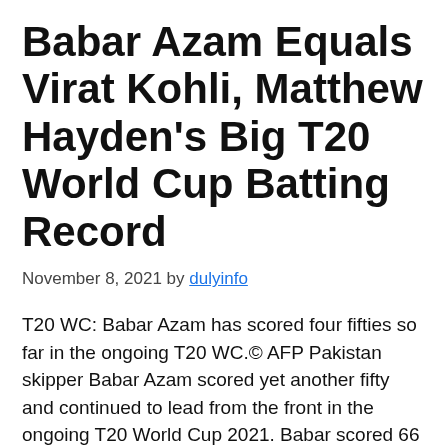Babar Azam Equals Virat Kohli, Matthew Hayden's Big T20 World Cup Batting Record
November 8, 2021 by dulyinfo
T20 WC: Babar Azam has scored four fifties so far in the ongoing T20 WC.© AFP Pakistan skipper Babar Azam scored yet another fifty and continued to lead from the front in the ongoing T20 World Cup 2021. Babar scored 66 runs in 47 deliveries as Pakistan posted 189/4 in 20 overs. During his epic… Read